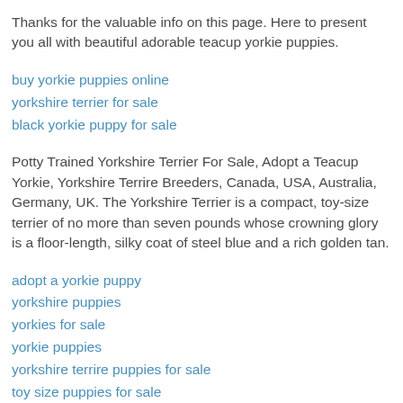Thanks for the valuable info on this page. Here to present you all with beautiful adorable teacup yorkie puppies.
buy yorkie puppies online
yorkshire terrier for sale
black yorkie puppy for sale
Potty Trained Yorkshire Terrier For Sale, Adopt a Teacup Yorkie, Yorkshire Terrire Breeders, Canada, USA, Australia, Germany, UK. The Yorkshire Terrier is a compact, toy-size terrier of no more than seven pounds whose crowning glory is a floor-length, silky coat of steel blue and a rich golden tan.
adopt a yorkie puppy
yorkshire puppies
yorkies for sale
yorkie puppies
yorkshire terrire puppies for sale
toy size puppies for sale
potty trained yorkies for sale
potty train yorkie puppies for sale
teacups for sale in